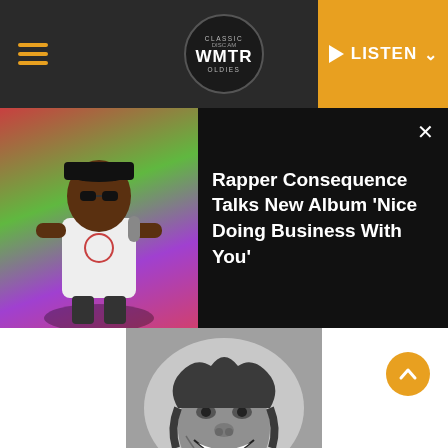Classic Oldies WMTR — LISTEN
[Figure (screenshot): Promo banner: rapper performer on stage with colorful background, headline: Rapper Consequence Talks New Album 'Nice Doing Business With You']
Rapper Consequence Talks New Album 'Nice Doing Business With You'
[Figure (photo): Black and white photo of Bob Marley smiling, credit: Evening Standard/Getty Images]
Evening Standard/Getty Images
Bob Marley
Share